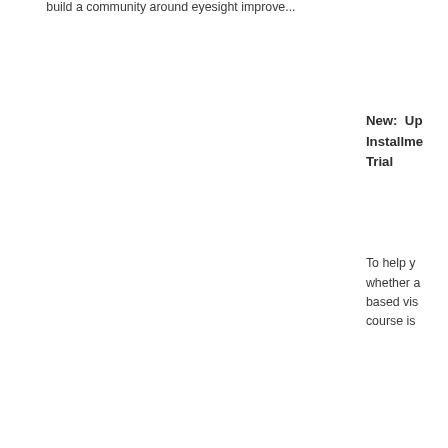build a community around eyesight improve...
New:  Up
Installme
Trial
To help y
whether a
based vis
course is
lifestyle. I am now offering up to 14 installm...